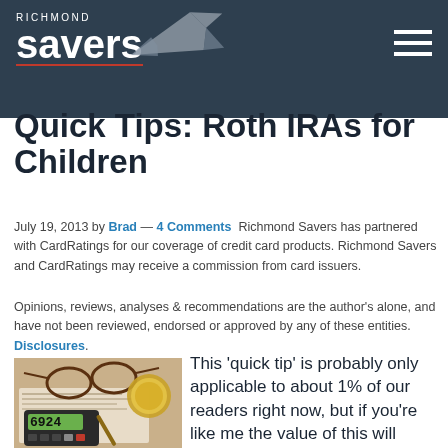Richmond Savers
Quick Tips: Roth IRAs for Children
July 19, 2013 by Brad — 4 Comments  Richmond Savers has partnered with CardRatings for our coverage of credit card products. Richmond Savers and CardRatings may receive a commission from card issuers.
Opinions, reviews, analyses & recommendations are the author's alone, and have not been reviewed, endorsed or approved by any of these entities. Disclosures.
[Figure (photo): Overhead photo of a calculator showing 6924, glasses, gold pocket watch/compass, and financial documents on a desk]
This 'quick tip' is probably only applicable to about 1% of our readers right now, but if you're like me the value of this will